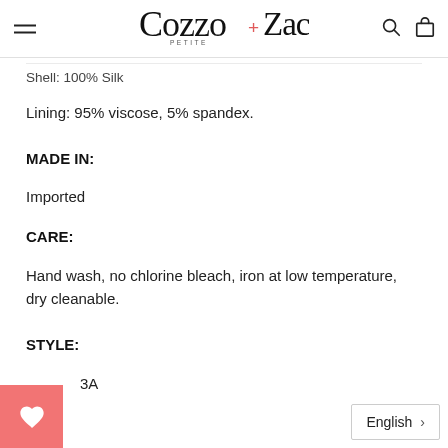Cozzo + Zacks Petite [logo with navigation icons]
Shell: 100% Silk
Lining: 95% viscose, 5% spandex.
MADE IN:
Imported
CARE:
Hand wash, no chlorine bleach, iron at low temperature, dry cleanable.
STYLE:
3A